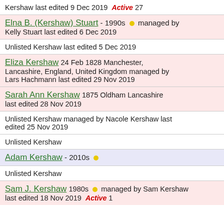Kershaw last edited 9 Dec 2019 Active 27
Elna B. (Kershaw) Stuart - 1990s managed by Kelly Stuart last edited 6 Dec 2019
Unlisted Kershaw last edited 5 Dec 2019
Eliza Kershaw 24 Feb 1828 Manchester, Lancashire, England, United Kingdom managed by Lars Hachmann last edited 29 Nov 2019
Sarah Ann Kershaw 1875 Oldham Lancashire last edited 28 Nov 2019
Unlisted Kershaw managed by Nacole Kershaw last edited 25 Nov 2019
Unlisted Kershaw
Adam Kershaw - 2010s
Unlisted Kershaw
Sam J. Kershaw 1980s managed by Sam Kershaw last edited 18 Nov 2019 Active 1